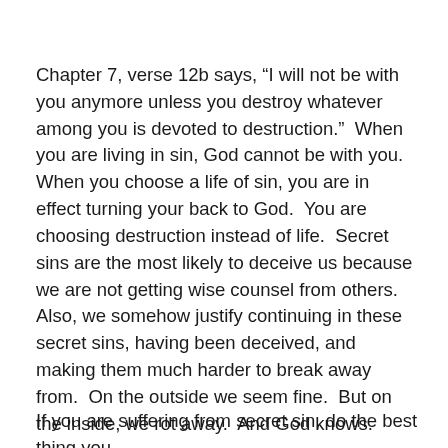Chapter 7, verse 12b says, “I will not be with you anymore unless you destroy whatever among you is devoted to destruction.”  When you are living in sin, God cannot be with you.  When you choose a life of sin, you are in effect turning your back to God.  You are choosing destruction instead of life.  Secret sins are the most likely to deceive us because we are not getting wise counsel from others.  Also, we somehow justify continuing in these secret sins, having been deceived, and making them much harder to break away from.  On the outside we seem fine.  But on the inside, we rot away.  And God knows.
If you are suffering from secret sin, do the best thing you